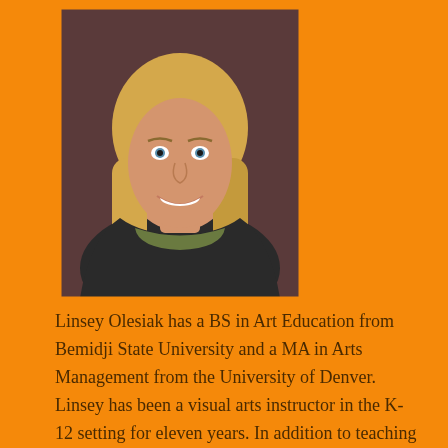[Figure (photo): Professional headshot of Linsey Olesiak, a woman with long blonde hair, smiling, wearing a dark jacket over an olive green top, against a dark brownish background.]
Linsey Olesiak has a BS in Art Education from Bemidji State University and a MA in Arts Management from the University of Denver. Linsey has been a visual arts instructor in the K-12 setting for eleven years. In addition to teaching visual arts, she founded a stagecraft club, running